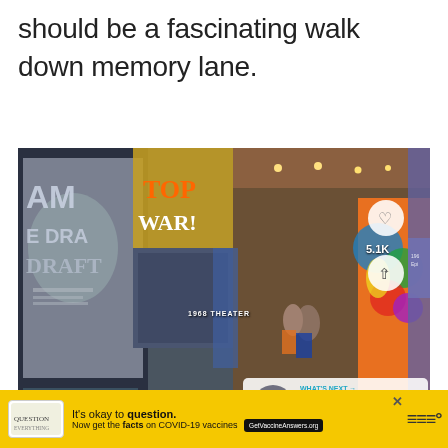should be a fascinating walk down memory lane.
[Figure (photo): Interior of a museum exhibition called '1968 Theater' showing large wall displays with text 'VIETNAM WAR' and 'THE DRAFT', colorful psychedelic artwork panels, museum visitors, display cases, and overhead track lighting. Social media UI elements overlaid: heart icon, 5.1K count, share button, and a 'WHAT'S NEXT' card for 'Uncovering Incredible Ar...']
It's okay to question. Now get the facts on COVID-19 vaccines GetVaccineAnswers.org